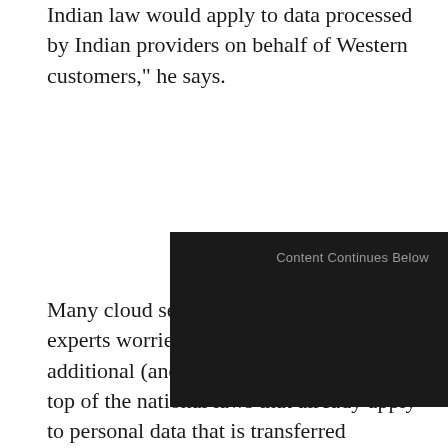Indian law would apply to data processed by Indian providers on behalf of Western customers," he says.
[Figure (other): Dark advertisement placeholder box with text 'Content Continues Below']
Many cloud service providers and legal experts worried that this would result in additional (and more restrictive) rules, on top of the national laws that already apply to personal data that is transferred offshore from the UK, EU or US.
Ignorance is no defence
"The Indian government has since clarified that